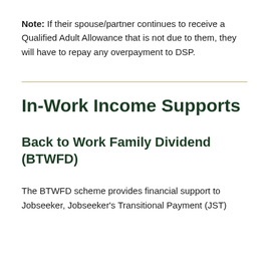Note: If their spouse/partner continues to receive a Qualified Adult Allowance that is not due to them, they will have to repay any overpayment to DSP.
In-Work Income Supports
Back to Work Family Dividend (BTWFD)
The BTWFD scheme provides financial support to Jobseeker, Jobseeker's Transitional Payment (JST)